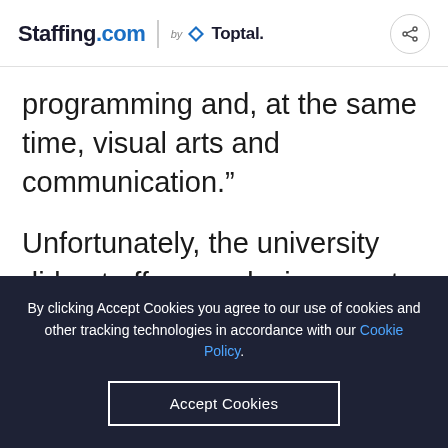Staffing.com by Toptal
programming and, at the same time, visual arts and communication.”
Unfortunately, the university did not offer any design or art degrees, so Nuff began pursuing an array of options. He spent two
By clicking Accept Cookies you agree to our use of cookies and other tracking technologies in accordance with our Cookie Policy.
Accept Cookies